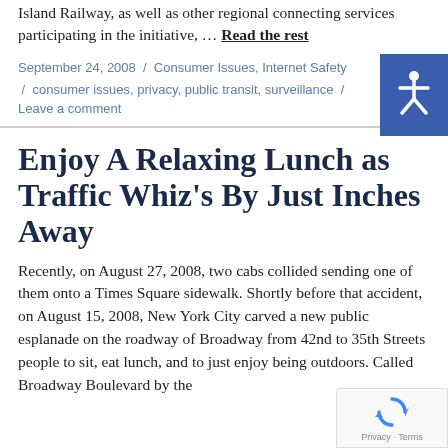Island Railway, as well as other regional connecting services participating in the initiative, … Read the rest
September 24, 2008 / Consumer Issues, Internet Safety / consumer issues, privacy, public transit, surveillance /
Leave a comment
Enjoy A Relaxing Lunch as Traffic Whiz's By Just Inches Away
Recently, on August 27, 2008, two cabs collided sending one of them onto a Times Square sidewalk. Shortly before that accident, on August 15, 2008, New York City carved a new public esplanade on the roadway of Broadway from 42nd to 35th Streets people to sit, eat lunch, and to just enjoy being outdoors. Called Broadway Boulevard by the